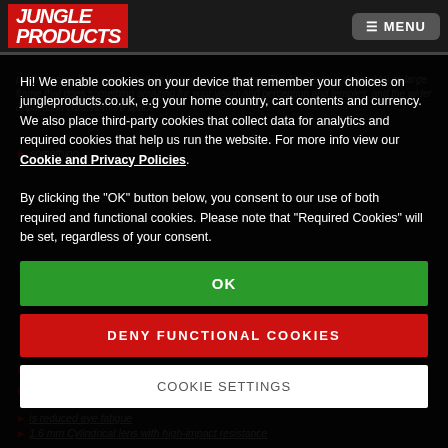JUNGLE PRODUCTS | MENU
Hi! We enable cookies on your device that remember your choices on jungleproducts.co.uk, e.g your home country, cart contents and currency. We also place third-party cookies that collect data for analytics and required cookies that help us run the website. For more info view our Cookie and Privacy Policies. By clicking the "OK" button below, you consent to our use of both required and functional cookies. Please note that "Required Cookies" will be set, regardless of your consent.
OK
DENY FUNCTIONAL COOKIES
COOKIE SETTINGS
is reduced eye fatigue
1.6 mm Cylindrical lens with high-impact resistance